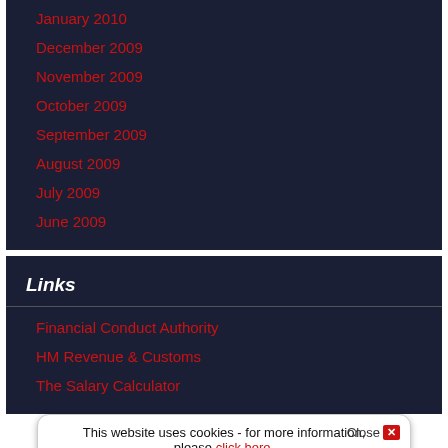January 2010
December 2009
November 2009
October 2009
September 2009
August 2009
July 2009
June 2009
Links
Financial Conduct Authority
HM Revenue & Customs
The Salary Calculator
This website uses cookies - for more information, please click here.